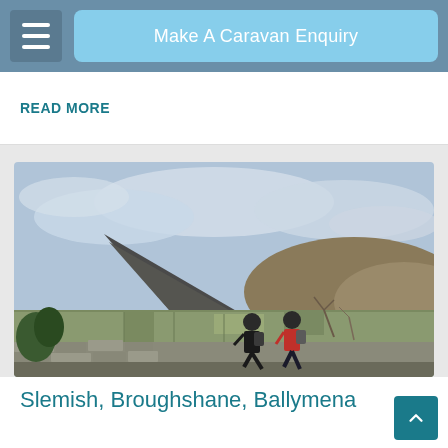Make A Caravan Enquiry
READ MORE
[Figure (photo): Two hikers walking along a stone wall with a dramatic conical mountain (Slemish) and open countryside in the background under a cloudy sky]
Slemish, Broughshane, Ballymena